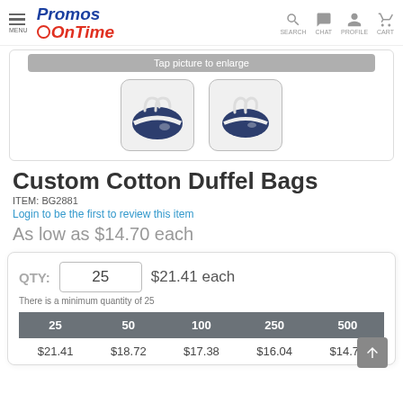Promos OnTime — MENU | SEARCH | CHAT | PROFILE | CART
[Figure (screenshot): Two thumbnail images of navy blue cotton duffel bags with white straps, shown side by side in rounded rectangle frames]
Custom Cotton Duffel Bags
ITEM: BG2881
Login to be the first to review this item
As low as $14.70 each
| 25 | 50 | 100 | 250 | 500 |
| --- | --- | --- | --- | --- |
| $21.41 | $18.72 | $17.38 | $16.04 | $14.70 |